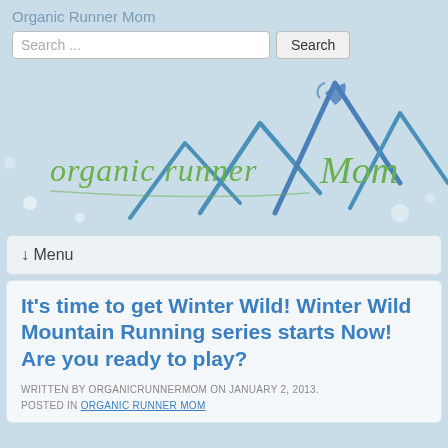Organic Runner Mom
Search ...
[Figure (logo): Organic Runner Mom logo with blue mountain peaks and green handwritten text]
↓ Menu
It's time to get Winter Wild! Winter Wild Mountain Running series starts Now! Are you ready to play?
WRITTEN BY ORGANICRUNNERMOM ON JANUARY 2, 2013. POSTED IN ORGANIC RUNNER MOM